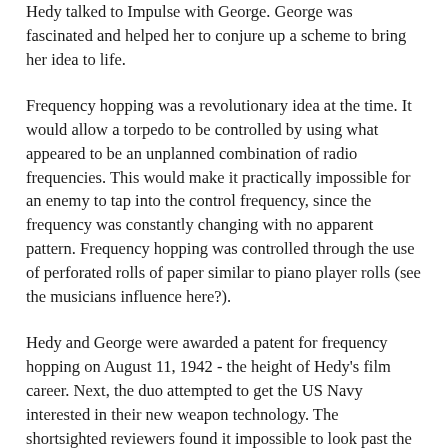Hedy talked to Impulse with George. George was fascinated and helped her to conjure up a scheme to bring her idea to life.
Frequency hopping was a revolutionary idea at the time. It would allow a torpedo to be controlled by using what appeared to be an unplanned combination of radio frequencies. This would make it practically impossible for an enemy to tap into the control frequency, since the frequency was constantly changing with no apparent pattern. Frequency hopping was controlled through the use of perforated rolls of paper similar to piano player rolls (see the musicians influence here?).
Hedy and George were awarded a patent for frequency hopping on August 11, 1942 - the height of Hedy's film career. Next, the duo attempted to get the US Navy interested in their new weapon technology. The shortsighted reviewers found it impossible to look past the integration of music, and refused to get involved with the idea. Their loss, I say.
But, never fear - this story does not have a tragic ending. At the Sylvania Electronic Division of Buffalo, NY in 1957, the engineers took up where Hedy and George left off, seeing the incredible value in their findings. The Sylvania engineers upgraded the